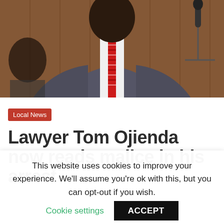[Figure (photo): A man in a grey suit with a red striped tie, photographed from chest up in what appears to be a formal indoor setting with wooden paneling and a microphone visible on the right.]
Local News
Lawyer Tom Ojienda now reads malice in his arrest
This website uses cookies to improve your experience. We'll assume you're ok with this, but you can opt-out if you wish.
Cookie settings
ACCEPT